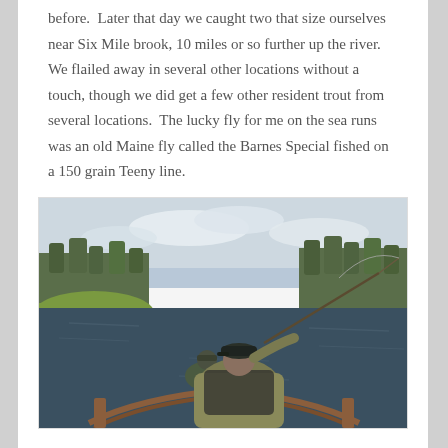before.  Later that day we caught two that size ourselves near Six Mile brook, 10 miles or so further up the river.  We flailed away in several other locations without a touch, though we did get a few other resident trout from several locations.  The lucky fly for me on the sea runs was an old Maine fly called the Barnes Special fished on a 150 grain Teeny line.
[Figure (photo): Two anglers fishing from a wooden canoe or boat on a calm river, seen from behind. The rearmost angler wears a dark baseball cap and olive/khaki jacket, holding a fly rod raised to cast. Trees line both banks of the river. Overcast sky visible above.]